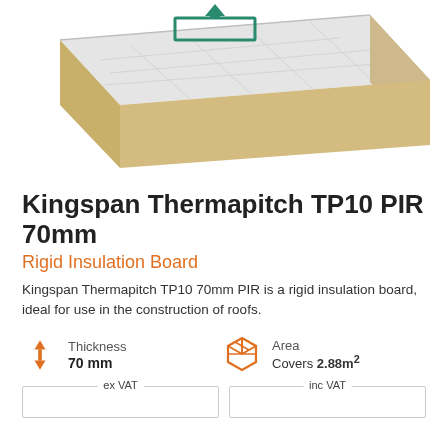[Figure (photo): Isometric view of Kingspan Thermapitch TP10 PIR 70mm rigid insulation board showing its layered construction — white/silver foil face, tan foam core, with a green outlined rectangle arrow indicator on top surface]
Kingspan Thermapitch TP10 PIR 70mm
Rigid Insulation Board
Kingspan Thermapitch TP10 70mm PIR is a rigid insulation board, ideal for use in the construction of roofs.
Thickness
70 mm
Area
Covers 2.88m²
ex VAT
inc VAT